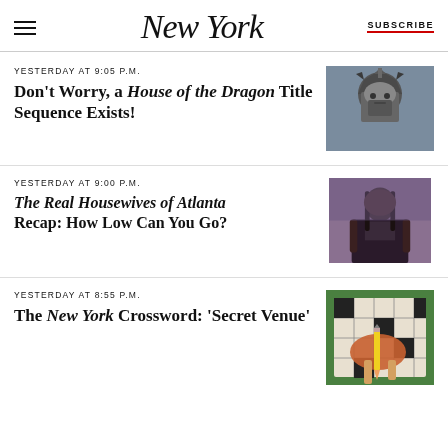NEW YORK | SUBSCRIBE
YESTERDAY AT 9:05 P.M.
Don't Worry, a House of the Dragon Title Sequence Exists!
[Figure (photo): Person wearing elaborate dragon/warrior helmet armor]
YESTERDAY AT 9:00 P.M.
The Real Housewives of Atlanta Recap: How Low Can You Go?
[Figure (photo): Woman with long dark hair looking to the side]
YESTERDAY AT 8:55 P.M.
The New York Crossword: ‘Secret Venue’
[Figure (illustration): Colorful illustration of hands holding pencil over crossword-style grid, green background]